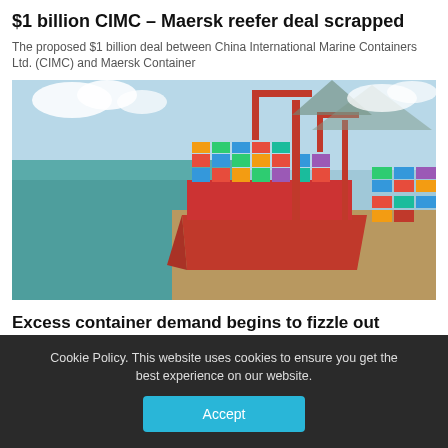$1 billion CIMC – Maersk reefer deal scrapped
The proposed $1 billion deal between China International Marine Containers Ltd. (CIMC) and Maersk Container
[Figure (photo): Aerial view of a large container ship docked at a busy container port with red cranes and stacked shipping containers]
Excess container demand begins to fizzle out
Demand for containers is slowly coming into line with global fleet capacity
Cookie Policy. This website uses cookies to ensure you get the best experience on our website.